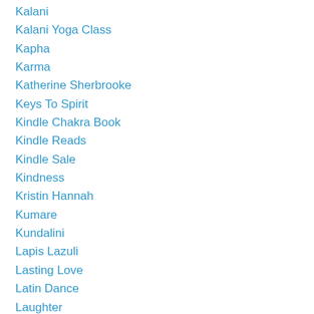Kalani
Kalani Yoga Class
Kapha
Karma
Katherine Sherbrooke
Keys To Spirit
Kindle Chakra Book
Kindle Reads
Kindle Sale
Kindness
Kristin Hannah
Kumare
Kundalini
Lapis Lazuli
Lasting Love
Latin Dance
Laughter
Laughter Yoga
Lauren M. Bloom
Lava Rock
Life And Death